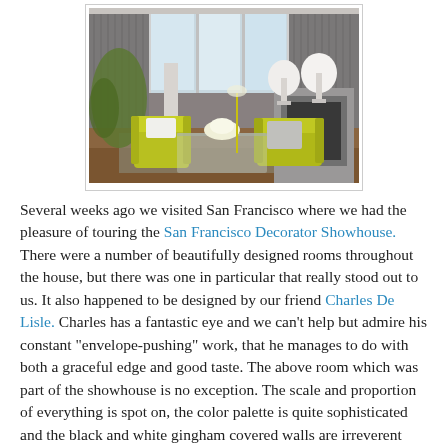[Figure (photo): Interior room photo showing a sophisticated living room with gray drape-covered walls, yellow-green accent chairs, a glass coffee table with white flowers, and white lamps flanking a gray fireplace. Large windows let in natural light.]
Several weeks ago we visited San Francisco where we had the pleasure of touring the San Francisco Decorator Showhouse. There were a number of beautifully designed rooms throughout the house, but there was one in particular that really stood out to us. It also happened to be designed by our friend Charles De Lisle. Charles has a fantastic eye and we can't help but admire his constant "envelope-pushing" work, that he manages to do with both a graceful edge and good taste. The above room which was part of the showhouse is no exception. The scale and proportion of everything is spot on, the color palette is quite sophisticated and the black and white gingham covered walls are irreverent enough to play into the room's overall irony.